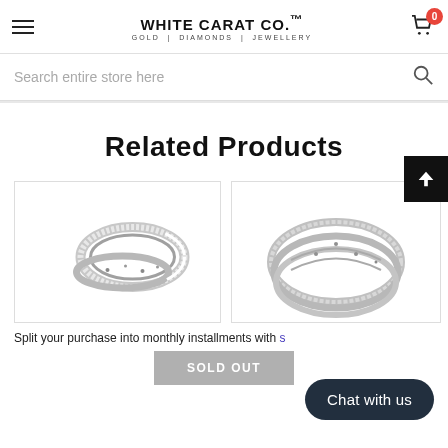WHITE CARAT CO.™ — GOLD | DIAMONDS | JEWELLERY
Search entire store here
Related Products
[Figure (photo): Two silver diamond-encrusted rings stacked together, product photo for related jewellery item]
[Figure (photo): Silver diamond-encrusted bracelet/bangle, partially visible, product photo for related jewellery item]
Split your purchase into monthly installments with s
SOLD OUT
Chat with us